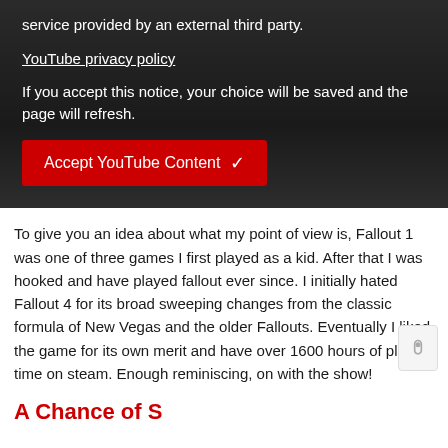service provided by an external third party.
YouTube privacy policy
If you accept this notice, your choice will be saved and the page will refresh.
[Figure (other): Red button labeled 'Accept YouTube Content' with a white checkmark]
To give you an idea about what my point of view is, Fallout 1 was one of three games I first played as a kid. After that I was hooked and have played fallout ever since. I initially hated Fallout 4 for its broad sweeping changes from the classic formula of New Vegas and the older Fallouts. Eventually I liked the game for its own merit and have over 1600 hours of play time on steam. Enough reminiscing, on with the show!
A Chance of S...